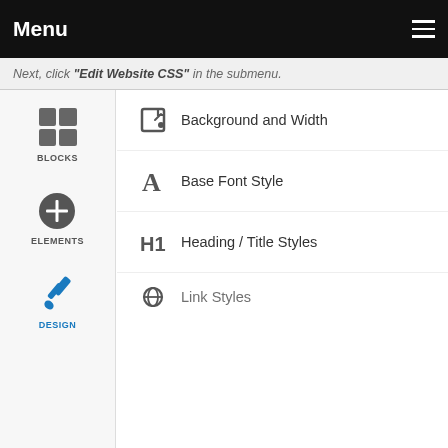Menu
Next, click "Edit Website CSS" in the submenu.
[Figure (screenshot): Website builder interface showing a left sidebar with Blocks, Elements, and Design icons, and a panel open on the right showing menu items: Background and Width, Base Font Style, Heading / Title Styles, Link Styles (partially visible). A close (X) button is in the top-right of the panel.]